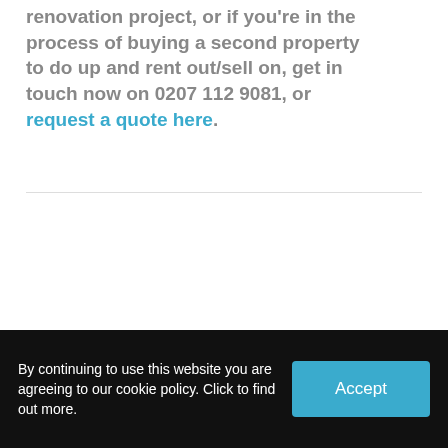renovation project, or if you're in the process of buying a second property to do up and rent out/sell on, get in touch now on 0207 112 9081, or request a quote here.
By continuing to use this website you are agreeing to our cookie policy. Click to find out more.